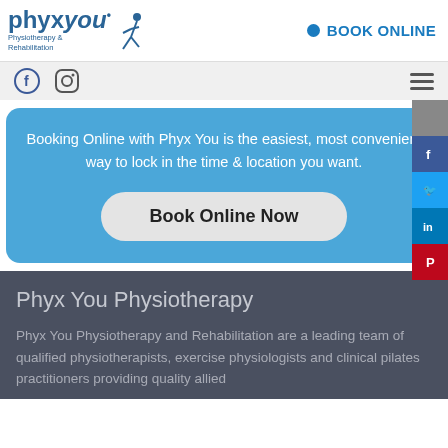phyx you Physiotherapy & Rehabilitation | BOOK ONLINE
[Figure (screenshot): Navigation bar with Facebook and Instagram icons on the left, hamburger menu on the right]
Booking Online with Phyx You is the easiest, most convenient way to lock in the time & location you want.
Book Online Now
[Figure (infographic): Side social media bar with gray, Facebook, Twitter, LinkedIn, and Pinterest icons]
Phyx You Physiotherapy
Phyx You Physiotherapy and Rehabilitation are a leading team of qualified physiotherapists, exercise physiologists and clinical pilates practitioners providing quality allied